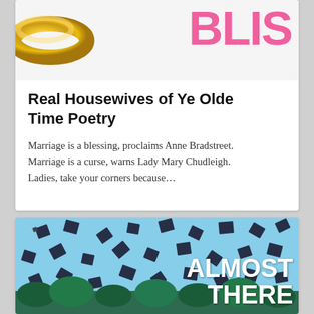[Figure (illustration): Top portion of a card showing a gold ring and pink bold text 'BLIS' on white background — part of a magazine or blog header image]
Real Housewives of Ye Olde Time Poetry
Marriage is a blessing, proclaims Anne Bradstreet. Marriage is a curse, warns Lady Mary Chudleigh. Ladies, take your corners because…
[Figure (photo): Graduation caps being tossed into the air against a blue sky, with trees in background. Bold white text overlay reads 'ALMOST THERE']